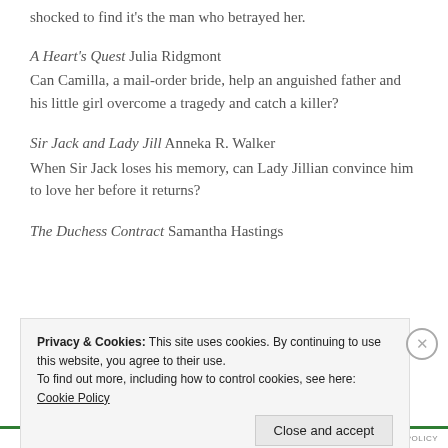shocked to find it's the man who betrayed her.
A Heart's Quest Julia Ridgmont
Can Camilla, a mail-order bride, help an anguished father and his little girl overcome a tragedy and catch a killer?
Sir Jack and Lady Jill Anneka R. Walker
When Sir Jack loses his memory, can Lady Jillian convince him to love her before it returns?
The Duchess Contract Samantha Hastings
Privacy & Cookies: This site uses cookies. By continuing to use this website, you agree to their use.
To find out more, including how to control cookies, see here: Cookie Policy
Close and accept